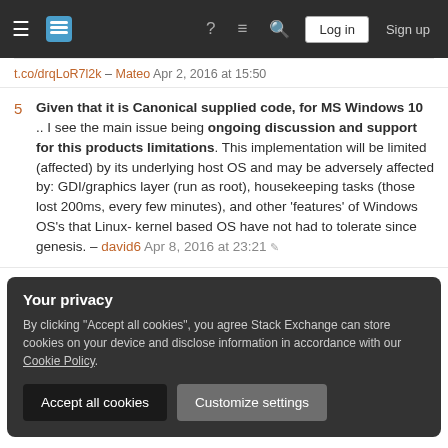Stack Exchange navigation bar with hamburger menu, logo, help, chat, search icons, Log in and Sign up buttons
t.co/drqLoR7l2k – Mateo Apr 2, 2016 at 15:50
5 — Given that it is Canonical supplied code, for MS Windows 10 .. I see the main issue being ongoing discussion and support for this products limitations. This implementation will be limited (affected) by its underlying host OS and may be adversely affected by: GDI/graphics layer (run as root), housekeeping tasks (those lost 200ms, every few minutes), and other 'features' of Windows OS's that Linux- kernel based OS have not had to tolerate since genesis. – david6 Apr 8, 2016 at 23:21
Your privacy
By clicking "Accept all cookies", you agree Stack Exchange can store cookies on your device and disclose information in accordance with our Cookie Policy.
Accept all cookies
Customize settings